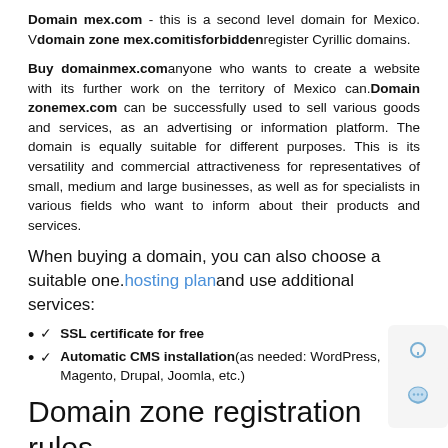Domain mex.com - this is a second level domain for Mexico. V domain zone mex.com it is forbidden register Cyrillic domains.
Buy domain mex.com anyone who wants to create a website with its further work on the territory of Mexico can. Domain zone mex.com can be successfully used to sell various goods and services, as an advertising or information platform. The domain is equally suitable for different purposes. This is its versatility and commercial attractiveness for representatives of small, medium and large businesses, as well as for specialists in various fields who want to inform about their products and services.
When buying a domain, you can also choose a suitable one. hosting plan and use additional services:
✓  SSL certificate for free
✓  Automatic CMS installation (as needed: WordPress, Magento, Drupal, Joomla, etc.)
Domain zone registration rules mex.com